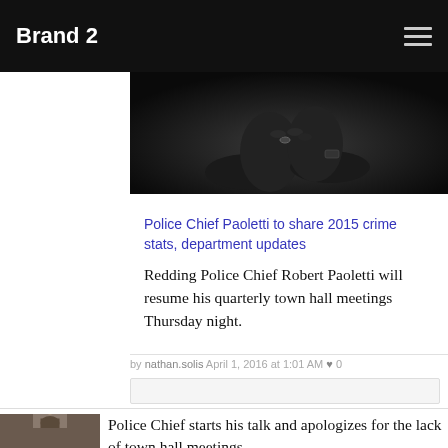Brand 2
[Figure (photo): Dark photograph of hands, partially visible, against a black background, cropped into a horizontal strip.]
Police Chief Paoletti to share 2015 crime stats, department updates
Redding Police Chief Robert Paoletti will resume his quarterly town hall meetings Thursday night.
by nathan.solis April 1, 2016 at 1:01 AM ♥ 0
Police Chief starts his talk and apologizes for the lack of town hall meetings.
by nathan.solis April 1, 2016 at 1:02 AM ♥ 0